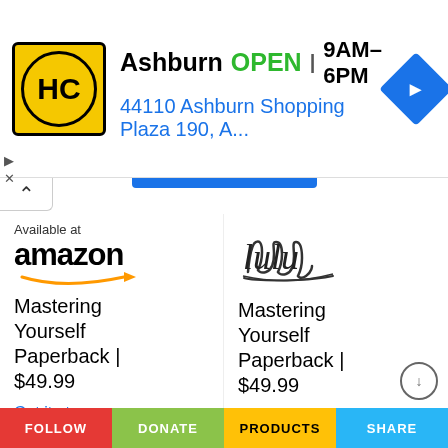[Figure (screenshot): Ad banner for HC store in Ashburn, showing yellow/black HC logo, OPEN status, hours 9AM-6PM, address 44110 Ashburn Shopping Plaza 190, A..., and blue navigation diamond icon]
Available at
[Figure (logo): Amazon logo with orange arrow]
[Figure (logo): Lulu logo in cursive script]
Mastering Yourself Paperback | $49.99
Mastering Yourself Paperback | $49.99
Get it at Amazon.com
Get it at Lulu.com
BUY NOW
BUY NOW
Mastering Yourself Hardcover | $99.99
Mastering Yourself Hardcover | $99.99
FOLLOW    DONATE    PRODUCTS    SHARE